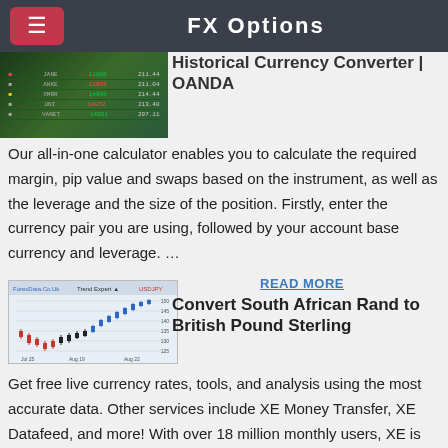FX Options
Historical Currency Converter | OANDA
[Figure (screenshot): Screenshot of a forex trading screen showing currency pair data in a dark background with green text]
Our all-in-one calculator enables you to calculate the required margin, pip value and swaps based on the instrument, as well as the leverage and the size of the position. Firstly, enter the currency pair you are using, followed by your account base currency and leverage. …
READ MORE
[Figure (screenshot): Screenshot of a forex candlestick chart showing USDJPY currency pair with candlestick price action and date axis showing Jul, Aug 19, Aug 22]
Convert South African Rand to British Pound Sterling
Get free live currency rates, tools, and analysis using the most accurate data. Other services include XE Money Transfer, XE Datafeed, and more! With over 18 million monthly users, XE is the trusted choice for the latest currency rates and information.